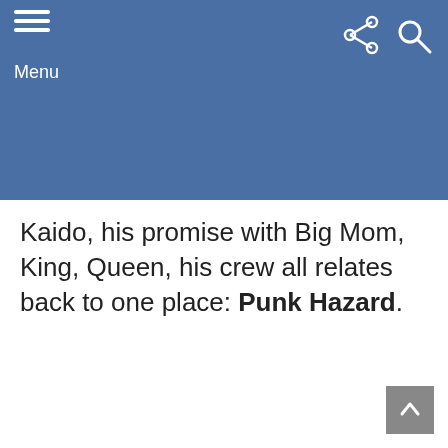[Figure (screenshot): Blue header bar with hamburger menu icon and Menu label on the left, share and search icons on the right]
Kaido, his promise with Big Mom, King, Queen, his crew all relates back to one place: Punk Hazard.